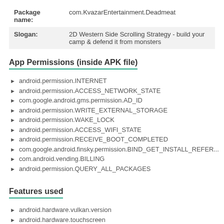| Package name: | com.KvazarEntertainment.Deadmeat |
| Slogan: | 2D Western Side Scrolling Strategy - build your camp & defend it from monsters |
App Permissions (inside APK file)
android.permission.INTERNET
android.permission.ACCESS_NETWORK_STATE
com.google.android.gms.permission.AD_ID
android.permission.WRITE_EXTERNAL_STORAGE
android.permission.WAKE_LOCK
android.permission.ACCESS_WIFI_STATE
android.permission.RECEIVE_BOOT_COMPLETED
com.google.android.finsky.permission.BIND_GET_INSTALL_REFER...
com.android.vending.BILLING
android.permission.QUERY_ALL_PACKAGES
Features used
android.hardware.vulkan.version
android.hardware.touchscreen
android.hardware.touchscreen.multitouch